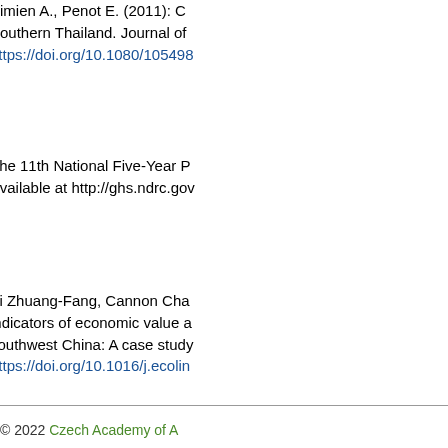Simien A., Penot E. (2011): C... Southern Thailand. Journal of... https://doi.org/10.1080/105498...
The 11th National Five-Year P... Available at http://ghs.ndrc.gov...
Yi Zhuang-Fang, Cannon Cha... indicators of economic value a... southwest China: A case study... https://doi.org/10.1016/j.ecolin...
Zhang Yue-Jun, Yao Ting (201... bubbles?. Economic Modelling...
[Figure (other): Download PDF button]
© 2022 Czech Academy of A...